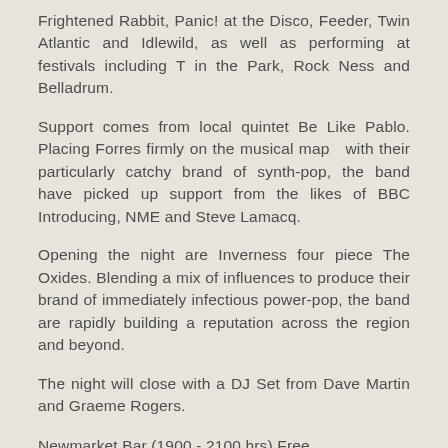Frightened Rabbit, Panic! at the Disco, Feeder, Twin Atlantic and Idlewild, as well as performing at festivals including T in the Park, Rock Ness and Belladrum.
Support comes from local quintet Be Like Pablo. Placing Forres firmly on the musical map  with their particularly catchy brand of synth-pop, the band have picked up support from the likes of BBC Introducing, NME and Steve Lamacq.
Opening the night are Inverness four piece The Oxides. Blending a mix of influences to produce their brand of immediately infectious power-pop, the band are rapidly building a reputation across the region and beyond.
The night will close with a DJ Set from Dave Martin and Graeme Rogers.
Newmarket Bar (1900 - 2100 hrs) Free
Hamish Hope
Andrea Turner